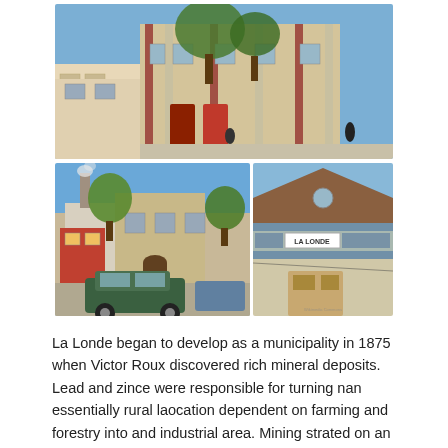[Figure (photo): Top photo: A building with trees in a town square, blue sky, warm stonework facade with vertical striped decorative elements and red doors.]
[Figure (photo): Bottom-left photo: Street scene with parked cars (green car in foreground), buildings and trees under a blue sky.]
[Figure (photo): Bottom-right photo: A building facade with a sign reading 'LA LONDE' with decorative tiled borders, a round window, and a beige door.]
La Londe began to develop as a municipality in 1875 when Victor Roux discovered rich mineral deposits. Lead and zince were responsible for turning nan essentially rural laocation dependent on farming and forestry into and industrial area. Mining strated on an industrial scale in 1885 and created numerous jobs.